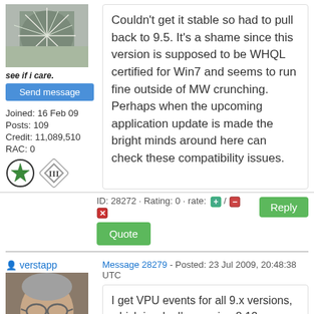[Figure (photo): User avatar showing a spiky plant or animal close-up]
see if i care.
Send message
Joined: 16 Feb 09
Posts: 109
Credit: 11,089,510
RAC: 0
Couldn't get it stable so had to pull back to 9.5. It's a shame since this version is supposed to be WHQL certified for Win7 and seems to run fine outside of MW crunching. Perhaps when the upcoming application update is made the bright minds around here can check these compatibility issues.
ID: 28272 · Rating: 0 · rate: /
Reply
Quote
verstapp
Message 28279 - Posted: 23 Jul 2009, 20:48:38 UTC
[Figure (photo): Profile photo of an older man with glasses wearing a blue shirt]
I get VPU events for all 9.x versions, which is why I'm running 8.12.
Send message